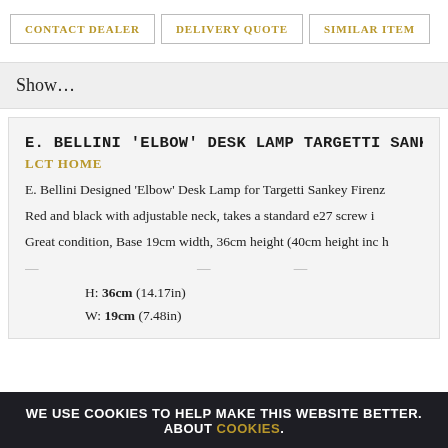CONTACT DEALER | DELIVERY QUOTE | SIMILAR ITEM
Show...
E. BELLINI 'ELBOW' DESK LAMP TARGETTI SANKEY
LCT HOME
E. Bellini Designed 'Elbow' Desk Lamp for Targetti Sankey Firenz
Red and black with adjustable neck, takes a standard e27 screw i
Great condition, Base 19cm width, 36cm height (40cm height inc h
H: 36cm (14.17in)
W: 19cm (7.48in)
WE USE COOKIES TO HELP MAKE THIS WEBSITE BETTER. ABOUT COOKIES.